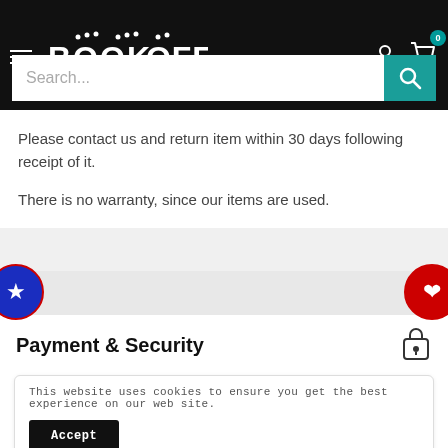[Figure (screenshot): BOOK·OFF website header with hamburger menu, logo, search bar, user icon and cart icon with badge showing 0]
Please contact us and return item within 30 days following receipt of it.
There is no warranty, since our items are used.
Payment & Security
[Figure (infographic): Payment method icons: AMEX, Apple Pay, Diners, Discover, Meta, Google Pay, Mastercard, Shop Pay, Visa]
This website uses cookies to ensure you get the best experience on our web site.
Accept